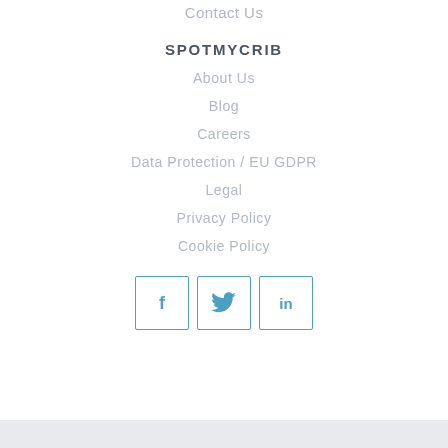Contact Us
SPOTMYCRIB
About Us
Blog
Careers
Data Protection / EU GDPR
Legal
Privacy Policy
Cookie Policy
[Figure (infographic): Three social media icon boxes in a row: Facebook (f), Twitter (bird), LinkedIn (in), each in a square border with blue outline and blue icon]